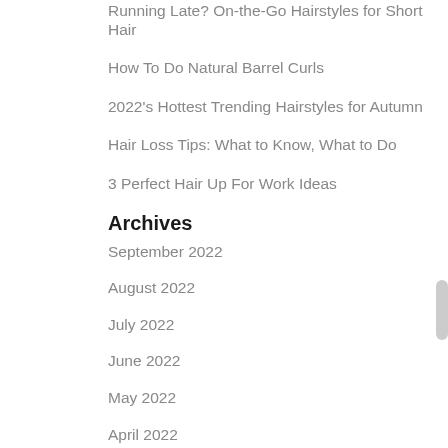Running Late? On-the-Go Hairstyles for Short Hair
How To Do Natural Barrel Curls
2022's Hottest Trending Hairstyles for Autumn
Hair Loss Tips: What to Know, What to Do
3 Perfect Hair Up For Work Ideas
Archives
September 2022
August 2022
July 2022
June 2022
May 2022
April 2022
March 2022
February 2022